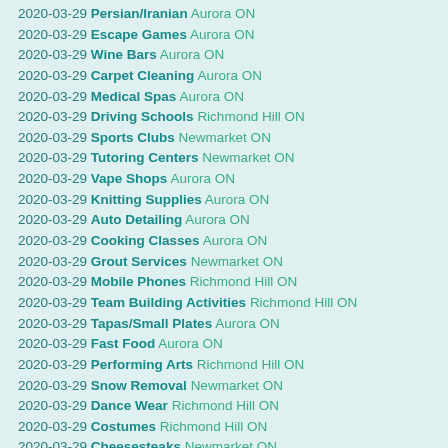2020-03-29 Persian/Iranian Aurora ON
2020-03-29 Escape Games Aurora ON
2020-03-29 Wine Bars Aurora ON
2020-03-29 Carpet Cleaning Aurora ON
2020-03-29 Medical Spas Aurora ON
2020-03-29 Driving Schools Richmond Hill ON
2020-03-29 Sports Clubs Newmarket ON
2020-03-29 Tutoring Centers Newmarket ON
2020-03-29 Vape Shops Aurora ON
2020-03-29 Knitting Supplies Aurora ON
2020-03-29 Auto Detailing Aurora ON
2020-03-29 Cooking Classes Aurora ON
2020-03-29 Grout Services Newmarket ON
2020-03-29 Mobile Phones Richmond Hill ON
2020-03-29 Team Building Activities Richmond Hill ON
2020-03-29 Tapas/Small Plates Aurora ON
2020-03-29 Fast Food Aurora ON
2020-03-29 Performing Arts Richmond Hill ON
2020-03-29 Snow Removal Newmarket ON
2020-03-29 Dance Wear Richmond Hill ON
2020-03-29 Costumes Richmond Hill ON
2020-03-29 Cheesesteaks Newmarket ON
2020-03-29 Electronics Repair Aurora ON